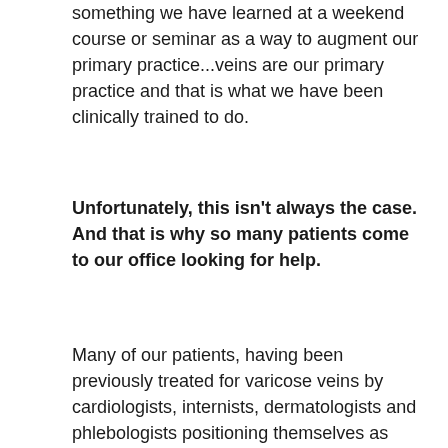something we have learned at a weekend course or seminar as a way to augment our primary practice...veins are our primary practice and that is what we have been clinically trained to do.
Unfortunately, this isn't always the case. And that is why so many patients come to our office looking for help.
Many of our patients, having been previously treated for varicose veins by cardiologists, internists, dermatologists and phlebologists positioning themselves as Vein "Specialists" and Vein "Experts", but have conditions far more complicated than "leaky valves" that show up as varicose veins. In most of the complications we see, patients have been treated by doctors thinking the problem could be easily fixed using a VNUS, EVLT or Sclerotherapy procedure. Unfortunately for the patient, sometimes this is a longer and more